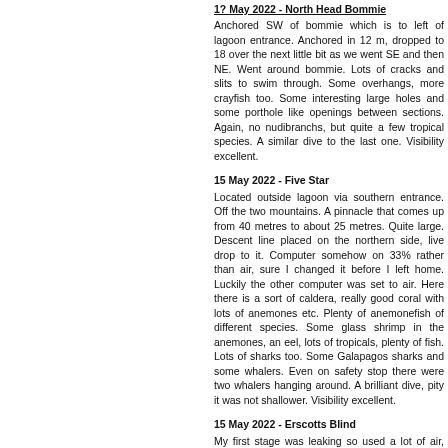1? May 2022 - North Head Bommie
Anchored SW of bommie which is to left of lagoon entrance. Anchored in 12 m, dropped to 18 over the next little bit as we went SE and then NE. Went around bommie. Lots of cracks and slits to swim through. Some overhangs, more crayfish too. Some interesting large holes and some porthole like openings between sections. Again, no nudibranchs, but quite a few tropical species. A similar dive to the last one. Visibility excellent.
15 May 2022 - Five Star
Located outside lagoon via southern entrance. Off the two mountains. A pinnacle that comes up from 40 metres to about 25 metres. Quite large. Descent line placed on the northern side, live drop to it. Computer somehow on 33% rather than air, sure I changed it before I left home. Luckily the other computer was set to air. Here there is a sort of caldera, really good coral with lots of anemones etc. Plenty of anemonefish of different species. Some glass shrimp in the anemones, an eel, lots of tropicals, plenty of fish. Lots of sharks too. Some Galapagos sharks and some whalers. Even on safety stop there were two whalers hanging around. A brilliant dive, pity it was not shallower. Visibility excellent.
15 May 2022 - Erscotts Blind
My first stage was leaking so used a lot of air, coming out the holes. Cleaned it after dive and nowhere as bad. This site located to north of the southern entrance to the lagoon, just inside. Western side is the barrier reef, very shallow. Sand about 7 m here. We went clockwise around the bowl and back to the anchor. Coral not the greatest but a very large white and orange Spanish dancer. Lots of tropical species. About 100 m along there were six sharks, not big, just cruising around. We